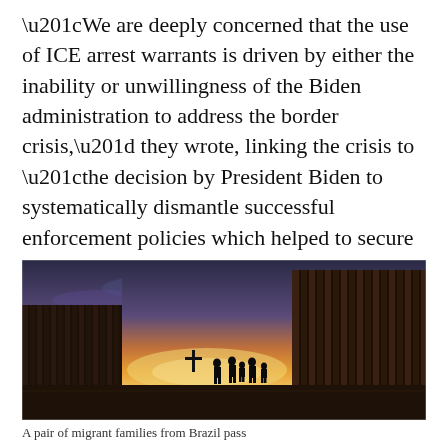“We are deeply concerned that the use of ICE arrest warrants is driven by either the inability or unwillingness of the Biden administration to address the border crisis,” they wrote, linking the crisis to “the decision by President Biden to systematically dismantle successful enforcement policies which helped to secure our southern border and deter illegal immigrants.”
[Figure (photo): Silhouettes of migrant families walking through a gap in a border wall at sunset/dusk, with dramatic orange and purple sky. Tall steel border wall panels visible on both sides.]
A pair of migrant families from Brazil pass